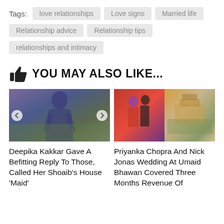Tags:  love relationships  Love signs  Married life  Relationship advice  Relationship tips  relationships and intimacy
YOU MAY ALSO LIKE...
[Figure (photo): Photo of a woman in a blue outfit outdoors, with carousel navigation arrows]
[Figure (photo): Two photos side by side: left shows Priyanka Chopra and Nick Jonas, right shows aerial view of Umaid Bhawan Palace]
Deepika Kakkar Gave A Befitting Reply To Those, Called Her Shoaib's House 'Maid'
Priyanka Chopra And Nick Jonas Wedding At Umaid Bhawan Covered Three Months Revenue Of